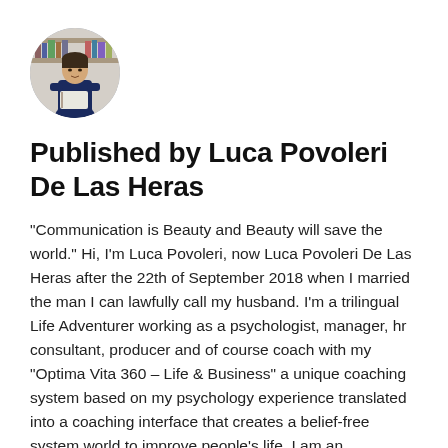[Figure (photo): Circular profile photo of Luca Povoleri De Las Heras, a man standing in front of bookshelves holding a book, wearing a dark blue shirt.]
Published by Luca Povoleri De Las Heras
"Communication is Beauty and Beauty will save the world." Hi, I'm Luca Povoleri, now Luca Povoleri De Las Heras after the 22th of September 2018 when I married the man I can lawfully call my husband. I'm a trilingual Life Adventurer working as a psychologist, manager, hr consultant, producer and of course coach with my "Optima Vita 360 – Life & Business" a unique coaching system based on my psychology experience translated into a coaching interface that creates a belief-free system world to improve people's life. I am an international published author with my